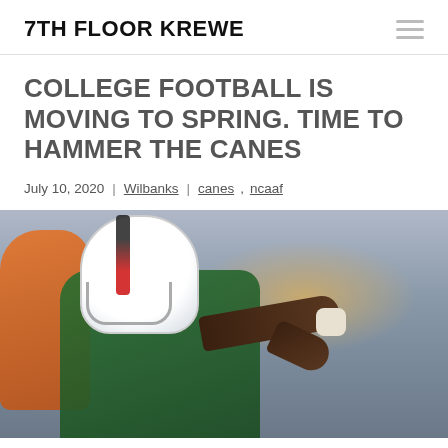7TH FLOOR KREWE
COLLEGE FOOTBALL IS MOVING TO SPRING. TIME TO HAMMER THE CANES
July 10, 2020 | Wilbanks | canes, ncaaf
[Figure (photo): Miami Hurricanes quarterback in white helmet throwing a pass, wearing green jersey, with an orange-jersied player visible in background]